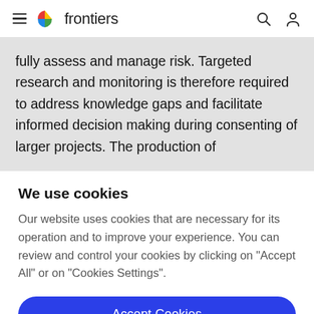frontiers
fully assess and manage risk. Targeted research and monitoring is therefore required to address knowledge gaps and facilitate informed decision making during consenting of larger projects. The production of
We use cookies
Our website uses cookies that are necessary for its operation and to improve your experience. You can review and control your cookies by clicking on "Accept All" or on "Cookies Settings".
Accept Cookies
Cookies Settings